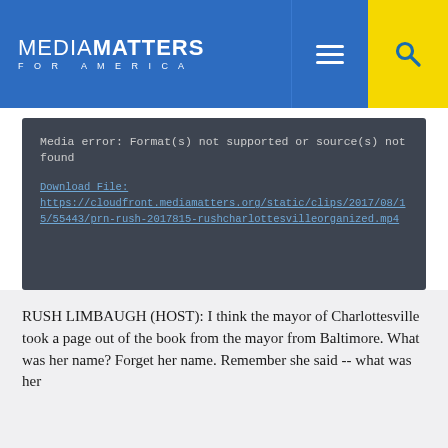MEDIA MATTERS FOR AMERICA
[Figure (screenshot): Media player error box with dark background showing: 'Media error: Format(s) not supported or source(s) not found' and a download link: https://cloudfront.mediamatters.org/static/clips/2017/08/15/55443/prn-rush-2017815-rushcharlottesvilleorganized.mp4]
RUSH LIMBAUGH (HOST): I think the mayor of Charlottesville took a page out of the book from the mayor from Baltimore. What was her name? Forget her name. Remember she said -- what was her